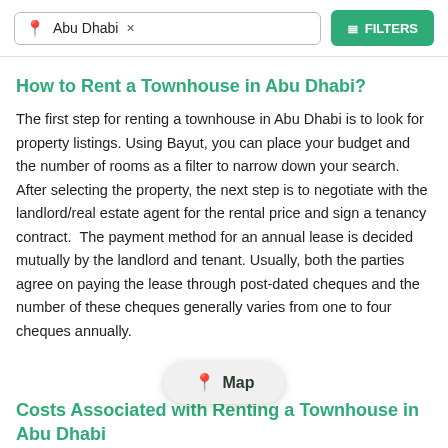Abu Dhabi × | FILTERS
How to Rent a Townhouse in Abu Dhabi?
The first step for renting a townhouse in Abu Dhabi is to look for property listings. Using Bayut, you can place your budget and the number of rooms as a filter to narrow down your search. After selecting the property, the next step is to negotiate with the landlord/real estate agent for the rental price and sign a tenancy contract.  The payment method for an annual lease is decided mutually by the landlord and tenant. Usually, both the parties agree on paying the lease through post-dated cheques and the number of these cheques generally varies from one to four cheques annually.
[Figure (other): Map button pill]
Costs Associated with Renting a Townhouse in Abu Dhabi